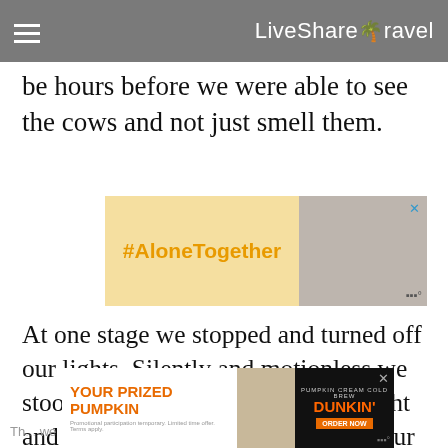LiveShareTravel
be hours before we were able to see the cows and not just smell them.
[Figure (infographic): #AloneTogether advertisement banner with yellow background and image of person working from home]
At one stage we stopped and turned off our lights. Silently and motionless we stood enveloped by the jet black night and heavy, brooding forest. Tilting our heads back we looked up at a cloudless star-filled sky, a rare pleasure in our mainly urban and light polluted world.
[Figure (infographic): Dunkin' Donuts Pumpkin Cream Cold Brew advertisement banner - YOUR PRIZED PUMPKIN]
Th... we